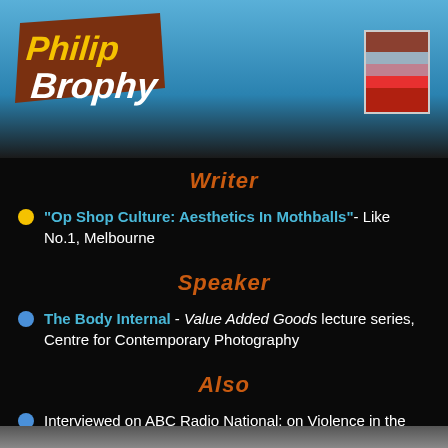[Figure (logo): Philip Brophy logo with brown/orange angular text on blue background]
[Figure (other): Color swatch box with brown, grey, pink, red stripes]
Writer
"Op Shop Culture: Aesthetics In Mothballs" - Like No.1, Melbourne
Speaker
The Body Internal - Value Added Goods lecture series, Centre for Contemporary Photography
Also
Interviewed on ABC Radio National: on Violence in the Media
MAIDENHEAD wins Best Soundtrack in Kracow International Film Festival, Poland